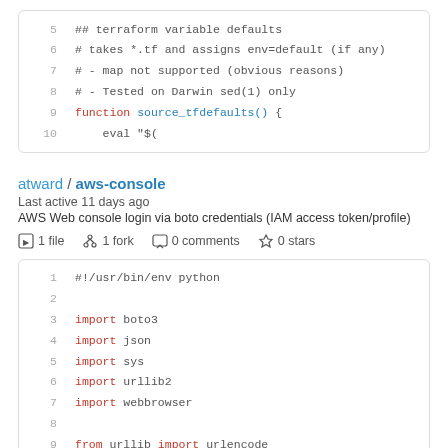[Figure (screenshot): Code block showing lines 5-10 of a shell script with terraform variable defaults function]
atward / aws-console
Last active 11 days ago
AWS Web console login via boto credentials (IAM access token/profile)
1 file   1 fork   0 comments   0 stars
[Figure (screenshot): Code block showing lines 1-9 of a Python script importing boto3, json, sys, urllib2, webbrowser and from urllib import urlencode]